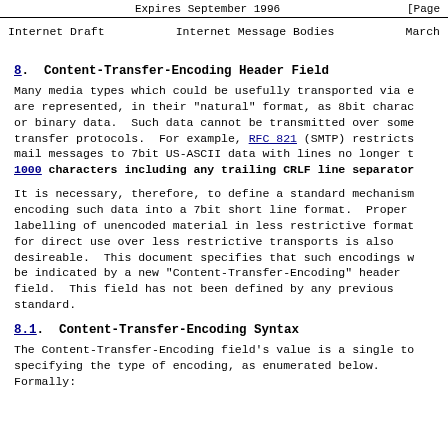Expires September 1996    [Page
Internet Draft    Internet Message Bodies    March
8. Content-Transfer-Encoding Header Field
Many media types which could be usefully transported via e are represented, in their "natural" format, as 8bit charac or binary data.  Such data cannot be transmitted over some transfer protocols.  For example, RFC 821 (SMTP) restricts mail messages to 7bit US-ASCII data with lines no longer t 1000 characters including any trailing CRLF line separator
It is necessary, therefore, to define a standard mechanism encoding such data into a 7bit short line format.  Proper labelling of unencoded material in less restrictive format for direct use over less restrictive transports is also desireable.  This document specifies that such encodings w be indicated by a new "Content-Transfer-Encoding" header field.  This field has not been defined by any previous standard.
8.1. Content-Transfer-Encoding Syntax
The Content-Transfer-Encoding field's value is a single to specifying the type of encoding, as enumerated below. Formally: